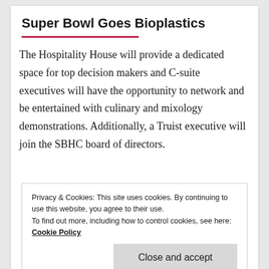Super Bowl Goes Bioplastics
The Hospitality House will provide a dedicated space for top decision makers and C-suite executives will have the opportunity to network and be entertained with culinary and mixology demonstrations. Additionally, a Truist executive will join the SBHC board of directors.
Privacy & Cookies: This site uses cookies. By continuing to use this website, you agree to their use. To find out more, including how to control cookies, see here: Cookie Policy
Close and accept
Somersille Johnson, chief marketing officer for Truist Financial Corporation. “We are committed to the relentless pursuit of better—better client